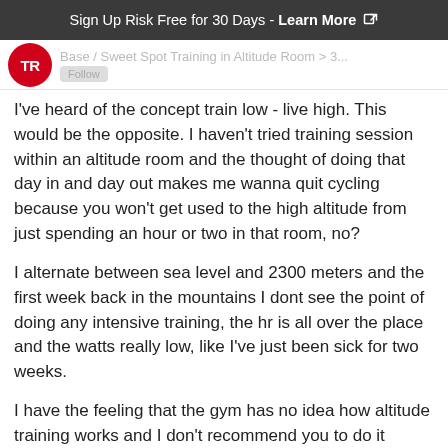Sign Up Risk Free for 30 Days - Learn More
Base / Sweet Spot Training in Altitude Room > 3...
I've heard of the concept train low - live high. This would be the opposite. I haven't tried training session within an altitude room and the thought of doing that day in and day out makes me wanna quit cycling because you won't get used to the high altitude from just spending an hour or two in that room, no?
I alternate between sea level and 2300 meters and the first week back in the mountains I dont see the point of doing any intensive training, the hr is all over the place and the watts really low, like I've just been sick for two weeks.
I have the feeling that the gym has no idea how altitude training works and I don't recommend you to do it because you essentially only will be training with